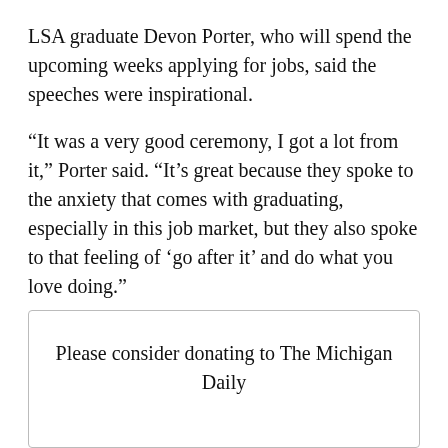LSA graduate Devon Porter, who will spend the upcoming weeks applying for jobs, said the speeches were inspirational.
“It was a very good ceremony, I got a lot from it,” Porter said. “It’s great because they spoke to the anxiety that comes with graduating, especially in this job market, but they also spoke to that feeling of ‘go after it’ and do what you love doing.”
Please consider donating to The Michigan Daily